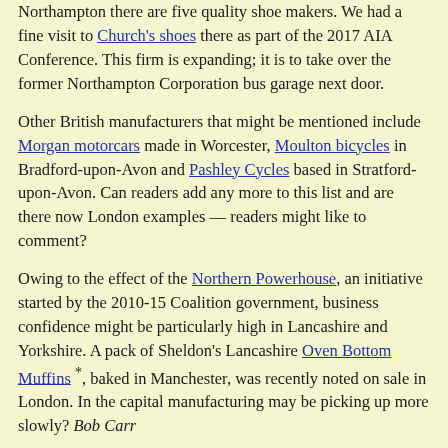Northampton there are five quality shoe makers. We had a fine visit to Church's shoes there as part of the 2017 AIA Conference. This firm is expanding; it is to take over the former Northampton Corporation bus garage next door.
Other British manufacturers that might be mentioned include Morgan motorcars made in Worcester, Moulton bicycles in Bradford-upon-Avon and Pashley Cycles based in Stratford-upon-Avon. Can readers add any more to this list and are there now London examples — readers might like to comment?
Owing to the effect of the Northern Powerhouse, an initiative started by the 2010-15 Coalition government, business confidence might be particularly high in Lancashire and Yorkshire. A pack of Sheldon's Lancashire Oven Bottom Muffins *, baked in Manchester, was recently noted on sale in London. In the capital manufacturing may be picking up more slowly? Bob Carr
* These muffins are said to be quite like the London muffins described by Charles Dickens that were sold in the street by Muffin men who rang a handbell to attract attention.
A modest proposal